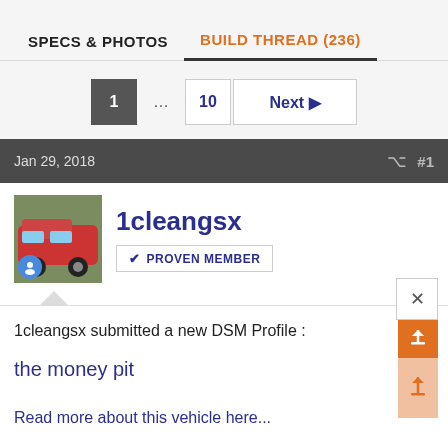SPECS & PHOTOS   BUILD THREAD (236)
1 ... 10 Next
Jan 29, 2018   #1
1cleangsx
PROVEN MEMBER
1cleangsx submitted a new DSM Profile :
the money pit
Read more about this vehicle here...
Jeremy